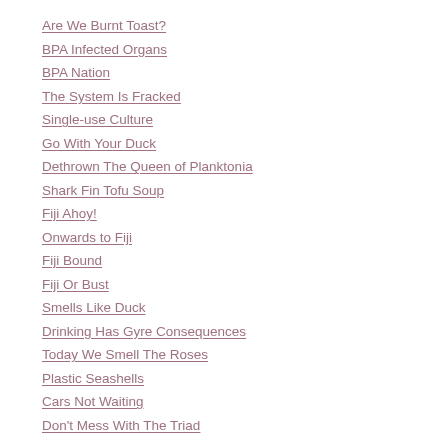Are We Burnt Toast?
BPA Infected Organs
BPA Nation
The System Is Fracked
Single-use Culture
Go With Your Duck
Dethrown The Queen of Planktonia
Shark Fin Tofu Soup
Fiji Ahoy!
Onwards to Fiji
Fiji Bound
Fiji Or Bust
Smells Like Duck
Drinking Has Gyre Consequences
Today We Smell The Roses
Plastic Seashells
Cars Not Waiting
Don't Mess With The Triad